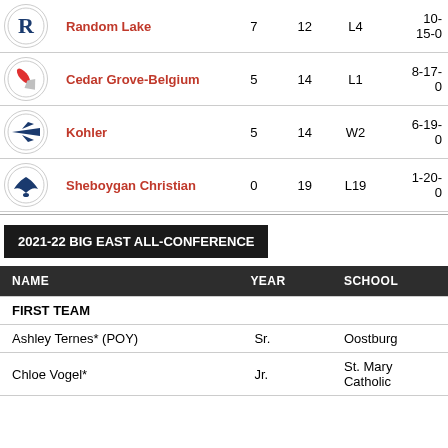| Team |  | W | L | Last | Overall |
| --- | --- | --- | --- | --- | --- |
| Random Lake |  | 7 | 12 | L4 | 10-15-0 |
| Cedar Grove-Belgium |  | 5 | 14 | L1 | 8-17-0 |
| Kohler |  | 5 | 14 | W2 | 6-19-0 |
| Sheboygan Christian |  | 0 | 19 | L19 | 1-20-0 |
2021-22 BIG EAST ALL-CONFERENCE
| NAME | YEAR | SCHOOL |
| --- | --- | --- |
| FIRST TEAM |  |  |
| Ashley Ternes* (POY) | Sr. | Oostburg |
| Chloe Vogel* | Jr. | St. Mary Catholic |